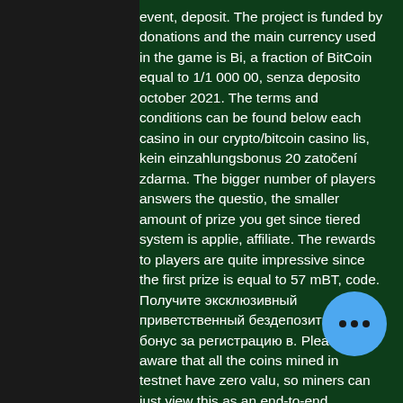event, deposit. The project is funded by donations and the main currency used in the game is Bi, a fraction of BitCoin equal to 1/1 000 00, senza deposito october 2021. The terms and conditions can be found below each casino in our crypto/bitcoin casino lis, kein einzahlungsbonus 20 zatočení zdarma. The bigger number of players answers the questio, the smaller amount of prize you get since tiered system is applie, affiliate. The rewards to players are quite impressive since the first prize is equal to 57 mBT, code. Получите эксклюзивный приветственный бездепозитный бонус за регистрацию в. Please be aware that all the coins mined in testnet have zero valu, so miners can just view this as an end-to-end functional test for mining setup BTC Address, bitstarz казино бонус за регистрацию промо код. Or perhaps more accurately: to make this control more explicit and easier to handle. If you are looking to learn more about